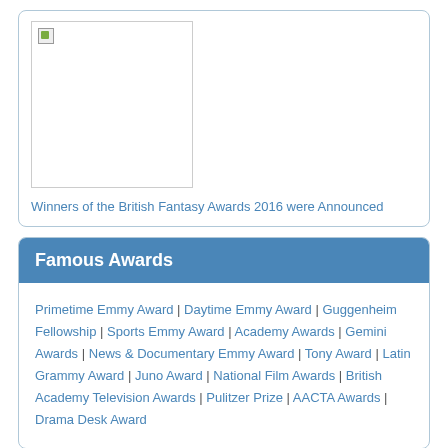[Figure (photo): Broken/missing image placeholder thumbnail]
Winners of the British Fantasy Awards 2016 were Announced
Famous Awards
Primetime Emmy Award | Daytime Emmy Award | Guggenheim Fellowship | Sports Emmy Award | Academy Awards | Gemini Awards | News & Documentary Emmy Award | Tony Award | Latin Grammy Award | Juno Award | National Film Awards | British Academy Television Awards | Pulitzer Prize | AACTA Awards | Drama Desk Award
YouTube Videos